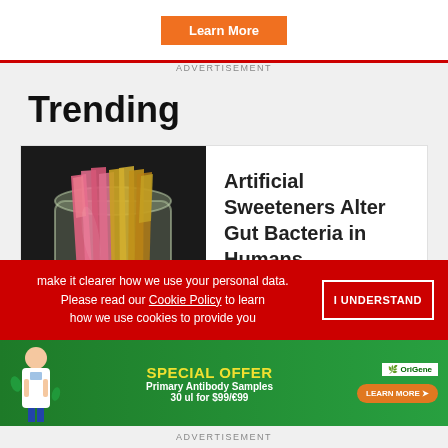[Figure (other): Advertisement banner with orange 'Learn More' button on white background]
ADVERTISEMENT
Trending
[Figure (photo): Glass jar filled with colorful artificial sweetener packets (pink and yellow/gold)]
Artificial Sweeteners Alter Gut Bacteria in Humans
make it clearer how we use your personal data. Please read our Cookie Policy to learn how we use cookies to provide you
I UNDERSTAND
[Figure (other): Advertisement banner for OriGene Special Offer - Primary Antibody Samples 30 ul for $99/€99 with doctor illustration and Learn More button]
ADVERTISEMENT